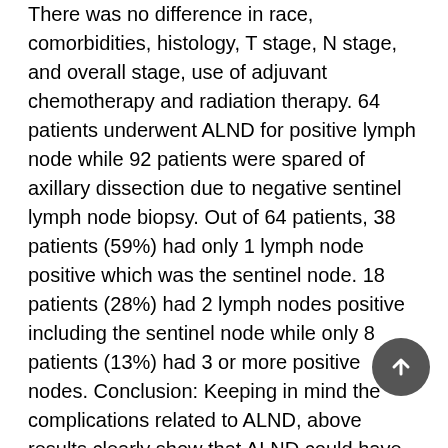There was no difference in race, comorbidities, histology, T stage, N stage, and overall stage, use of adjuvant chemotherapy and radiation therapy. 64 patients underwent ALND for positive lymph node while 92 patients were spared of axillary dissection due to negative sentinel lymph node biopsy. Out of 64 patients, 38 patients (59%) had only 1 lymph node positive which was the sentinel node. 18 patients (28%) had 2 lymph nodes positive including the sentinel node while only 8 patients (13%) had 3 or more positive nodes. Conclusion: Keeping in mind the complications related to ALND, above results clearly show that ALND could have been avoided in 87% of patients in the setting of adjuvant radiation, possibly avoiding the morbidity associated with axillary lymphadenectomy although a prospective randomized trial needs to confirm these results.
Keywords: mastectomy, sentinel lymph node biopsy,